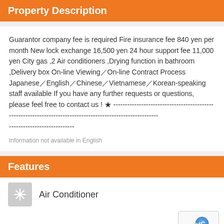Property Description
Guarantor company fee is required Fire insurance fee 840 yen per month New lock exchange 16,500 yen 24 hour support fee 11,000 yen City gas ,2 Air conditioners ,Drying function in bathroom ,Delivery box On-line Viewing／On-line Contract Process Japanese／English／Chinese／Vietnamese／Korean-speaking staff available If you have any further requests or questions, please feel free to contact us ! ★ ------------------------------------------------------------------------------
----------------------------
Information not available in English
Features
Air Conditioner